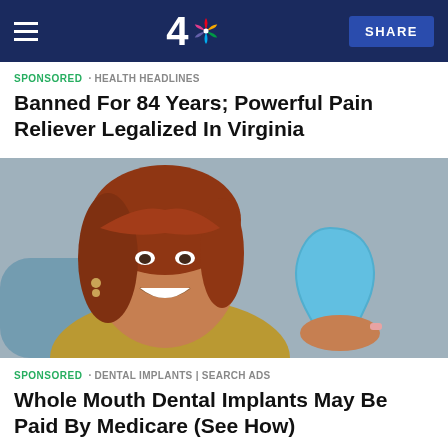NBC 4 — SHARE
SPONSORED · HEALTH HEADLINES
Banned For 84 Years; Powerful Pain Reliever Legalized In Virginia
[Figure (photo): Smiling woman with red hair sitting in a dental chair, holding a blue tooth-shaped mirror and looking at it happily.]
SPONSORED · DENTAL IMPLANTS | SEARCH ADS
Whole Mouth Dental Implants May Be Paid By Medicare (See How)